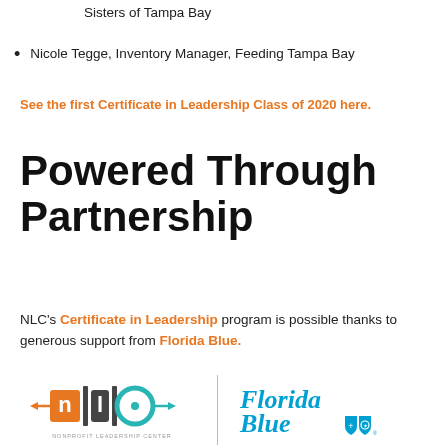Sisters of Tampa Bay
Nicole Tegge, Inventory Manager, Feeding Tampa Bay
See the first Certificate in Leadership Class of 2020 here.
Powered Through Partnership
NLC's Certificate in Leadership program is possible thanks to generous support from Florida Blue.
[Figure (logo): Nonprofit Leadership Center (NLC) logo and Florida Blue logo side by side with a vertical divider]